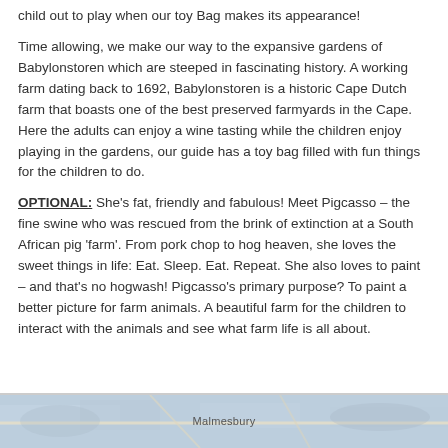child out to play when our toy Bag makes its appearance!

Time allowing, we make our way to the expansive gardens of Babylonstoren which are steeped in fascinating history. A working farm dating back to 1692, Babylonstoren is a historic Cape Dutch farm that boasts one of the best preserved farmyards in the Cape. Here the adults can enjoy a wine tasting while the children enjoy playing in the gardens, our guide has a toy bag filled with fun things for the children to do.

OPTIONAL: She's fat, friendly and fabulous! Meet Pigcasso – the fine swine who was rescued from the brink of extinction at a South African pig 'farm'. From pork chop to hog heaven, she loves the sweet things in life: Eat. Sleep. Eat. Repeat. She also loves to paint – and that's no hogwash! Pigcasso's primary purpose? To paint a better picture for farm animals. A beautiful farm for the children to interact with the animals and see what farm life is all about.
[Figure (map): Map strip showing Malmesbury area]